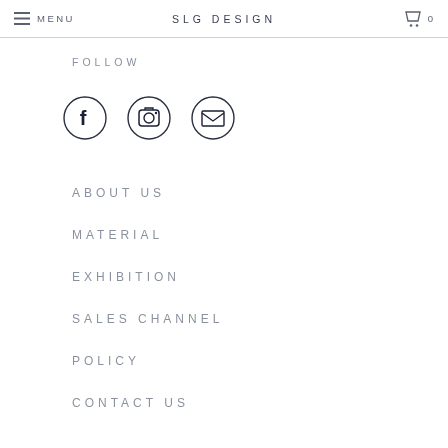MENU  SLG DESIGN  0
FOLLOW
[Figure (illustration): Three circular social media icons: Facebook (f), Instagram (camera), and Email (envelope)]
ABOUT US
MATERIAL
EXHIBITION
SALES CHANNEL
POLICY
CONTACT US